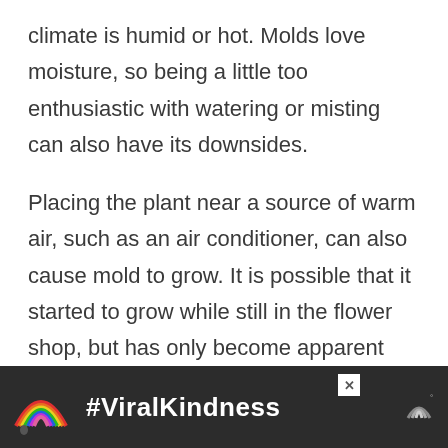climate is humid or hot. Molds love moisture, so being a little too enthusiastic with watering or misting can also have its downsides.
Placing the plant near a source of warm air, such as an air conditioner, can also cause mold to grow. It is possible that it started to grow while still in the flower shop, but has only become apparent after bringing the plant home.
[Figure (infographic): Advertisement banner with dark background showing a rainbow illustration on the left, bold white text '#ViralKindness' in the center, a close button (X) in the upper right area, and a logo mark (three curved lines) on the far right.]